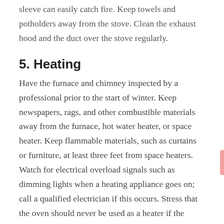sleeve can easily catch fire. Keep towels and potholders away from the stove. Clean the exhaust hood and the duct over the stove regularly.
5. Heating
Have the furnace and chimney inspected by a professional prior to the start of winter. Keep newspapers, rags, and other combustible materials away from the furnace, hot water heater, or space heater. Keep flammable materials, such as curtains or furniture, at least three feet from space heaters. Watch for electrical overload signals such as dimming lights when a heating appliance goes on; call a qualified electrician if this occurs. Stress that the oven should never be used as a heater if the house feels too cold or the furnace goes off.
6. Candles
Candles exude an aura of warmth and coziness – but